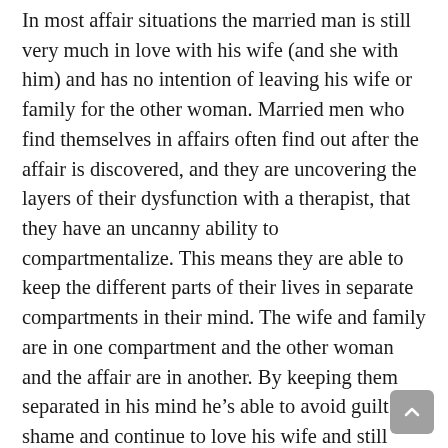In most affair situations the married man is still very much in love with his wife (and she with him) and has no intention of leaving his wife or family for the other woman. Married men who find themselves in affairs often find out after the affair is discovered, and they are uncovering the layers of their dysfunction with a therapist, that they have an uncanny ability to compartmentalize. This means they are able to keep the different parts of their lives in separate compartments in their mind. The wife and family are in one compartment and the other woman and the affair are in another. By keeping them separated in his mind he’s able to avoid guilt and shame and continue to love his wife and still carry on with the other woman because the two don’t cross over in his mind at all.